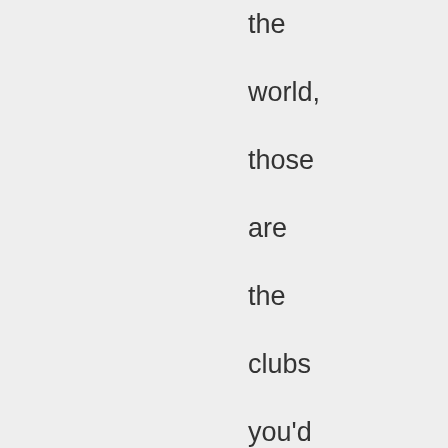the world, those are the clubs you'd want to cultivate. Ireneo can verify this, but in